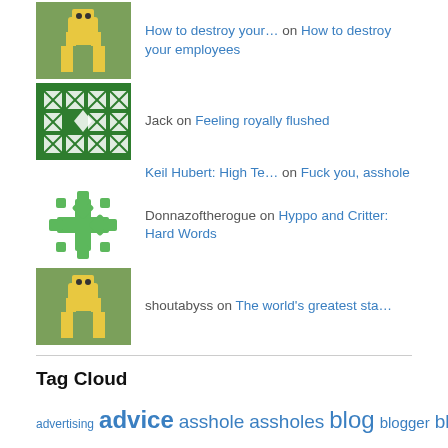How to destroy your… on How to destroy your employees
Jack on Feeling royally flushed
Keil Hubert: High Te… on Fuck you, asshole
Donnazoftherogue on Hyppo and Critter: Hard Words
shoutabyss on The world's greatest sta…
Tag Cloud
advertising advice asshole assholes blog blogger blogging boss business cartoon challenge christmas comic critter death …